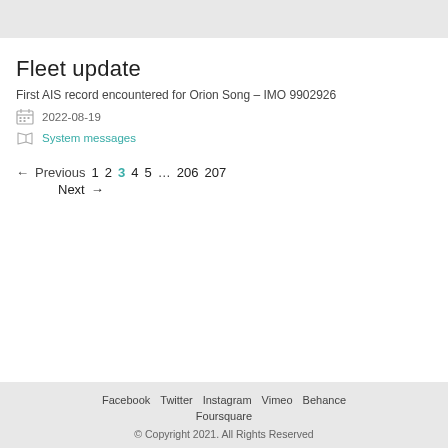Fleet update
First AIS record encountered for Orion Song – IMO 9902926
2022-08-19
System messages
← Previous  1  2  3  4  5  ...  206  207  Next →
Facebook  Twitter  Instagram  Vimeo  Behance  Foursquare  © Copyright 2021. All Rights Reserved